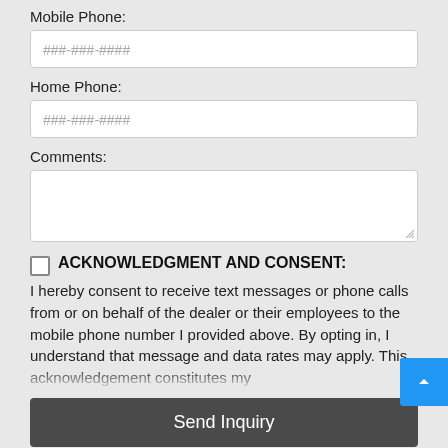Mobile Phone:
###-###-####
Home Phone:
###-###-####
Comments:
ACKNOWLEDGMENT AND CONSENT:
I hereby consent to receive text messages or phone calls from or on behalf of the dealer or their employees to the mobile phone number I provided above. By opting in, I understand that message and data rates may apply. This acknowledgement constitutes my
Send Inquiry